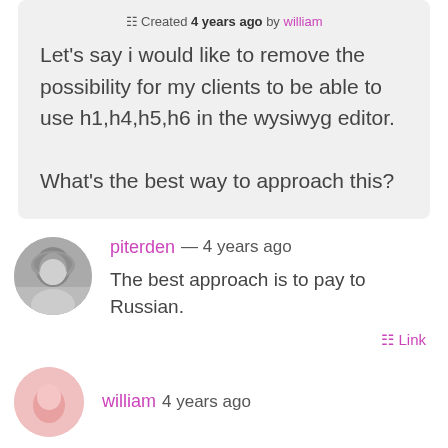Created 4 years ago by william
Let's say i would like to remove the possibility for my clients to be able to use h1,h4,h5,h6 in the wysiwyg editor.

What's the best way to approach this?
piterden — 4 years ago
The best approach is to pay to Russian.
Link
william  4 years ago